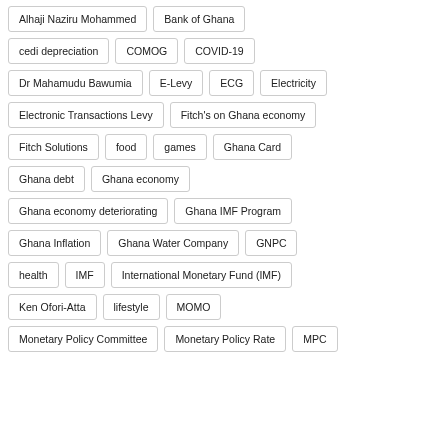Alhaji Naziru Mohammed
Bank of Ghana
cedi depreciation
COMOG
COVID-19
Dr Mahamudu Bawumia
E-Levy
ECG
Electricity
Electronic Transactions Levy
Fitch's on Ghana economy
Fitch Solutions
food
games
Ghana Card
Ghana debt
Ghana economy
Ghana economy deteriorating
Ghana IMF Program
Ghana Inflation
Ghana Water Company
GNPC
health
IMF
International Monetary Fund (IMF)
Ken Ofori-Atta
lifestyle
MOMO
Monetary Policy Committee
Monetary Policy Rate
MPC